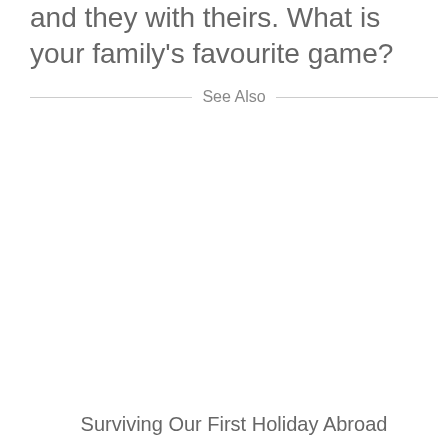and they with theirs. What is your family's favourite game?
See Also
Surviving Our First Holiday Abroad